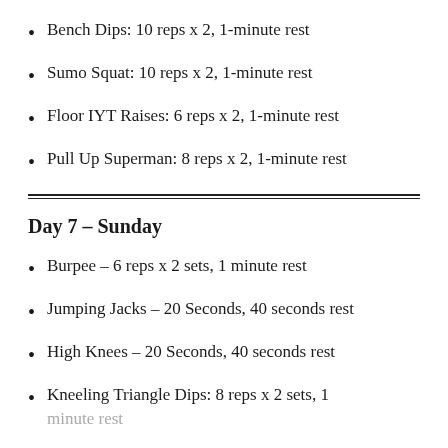Bench Dips: 10 reps x 2, 1-minute rest
Sumo Squat: 10 reps x 2, 1-minute rest
Floor IYT Raises: 6 reps x 2, 1-minute rest
Pull Up Superman: 8 reps x 2, 1-minute rest
Day 7 – Sunday
Burpee – 6 reps x 2 sets, 1 minute rest
Jumping Jacks – 20 Seconds, 40 seconds rest
High Knees – 20 Seconds, 40 seconds rest
Kneeling Triangle Dips: 8 reps x 2 sets, 1 minute rest
Bench Dips: 8 reps x 2 sets, 1 minute rest